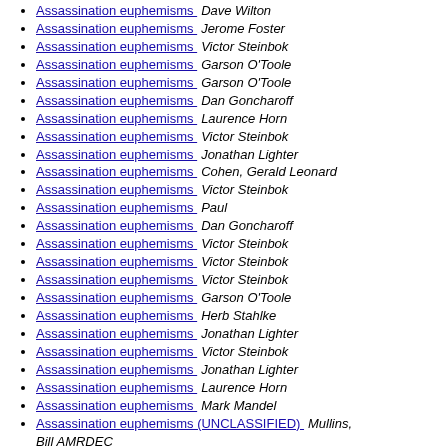Assassination euphemisms  Dave Wilton
Assassination euphemisms  Jerome Foster
Assassination euphemisms  Victor Steinbok
Assassination euphemisms  Garson O'Toole
Assassination euphemisms  Garson O'Toole
Assassination euphemisms  Dan Goncharoff
Assassination euphemisms  Laurence Horn
Assassination euphemisms  Victor Steinbok
Assassination euphemisms  Jonathan Lighter
Assassination euphemisms  Cohen, Gerald Leonard
Assassination euphemisms  Victor Steinbok
Assassination euphemisms  Paul
Assassination euphemisms  Dan Goncharoff
Assassination euphemisms  Victor Steinbok
Assassination euphemisms  Victor Steinbok
Assassination euphemisms  Victor Steinbok
Assassination euphemisms  Garson O'Toole
Assassination euphemisms  Herb Stahlke
Assassination euphemisms  Jonathan Lighter
Assassination euphemisms  Victor Steinbok
Assassination euphemisms  Jonathan Lighter
Assassination euphemisms  Laurence Horn
Assassination euphemisms  Mark Mandel
Assassination euphemisms (UNCLASSIFIED)  Mullins, Bill AMRDEC